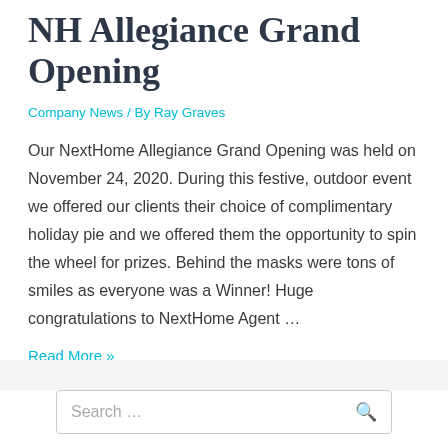NH Allegiance Grand Opening
Company News / By Ray Graves
Our NextHome Allegiance Grand Opening was held on November 24, 2020. During this festive, outdoor event we offered our clients their choice of complimentary holiday pie and we offered them the opportunity to spin the wheel for prizes. Behind the masks were tons of smiles as everyone was a Winner! Huge congratulations to NextHome Agent …
Read More »